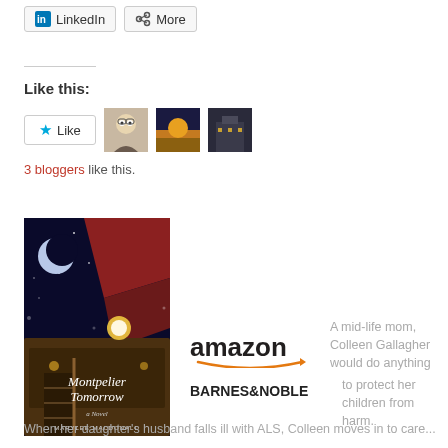[Figure (screenshot): LinkedIn and More share buttons at top of page]
Like this:
[Figure (screenshot): Like button with star icon and three blogger avatars]
3 bloggers like this.
[Figure (photo): Book cover for Montpelier Tomorrow by Marylee MacDonald showing a train at night with a moon]
[Figure (logo): Amazon logo]
[Figure (logo): Barnes & Noble logo]
A mid-life mom, Colleen Gallagher would do anything to protect her children from harm. When her daughter's husband falls ill with ALS, Colleen moves in to care...